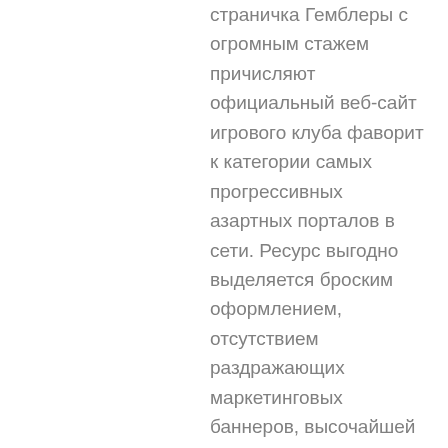страничка Гемблеры с огромным стажем причисляют официальный веб-сайт игрового клуба фаворит к категории самых прогрессивных азартных порталов в сети. Ресурс выгодно выделяется броским оформлением, отсутствием раздражающих маркетинговых баннеров, высочайшей скоростью загрузки. Комфортное основное меню дозволяет быстро сориентироваться и отыскать подходящий раздел: правила